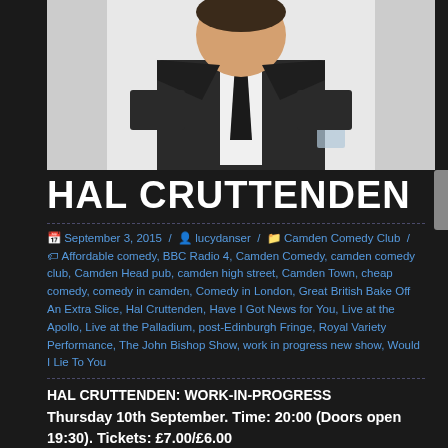[Figure (photo): Man in black suit and tie holding a glass, cropped from shoulders up, white background]
HAL CRUTTENDEN
September 3, 2015 / lucydanser / Camden Comedy Club / Affordable comedy, BBC Radio 4, Camden Comedy, camden comedy club, Camden Head pub, camden high street, Camden Town, cheap comedy, comedy in camden, Comedy in London, Great British Bake Off An Extra Slice, Hal Cruttenden, Have I Got News for You, Live at the Apollo, Live at the Palladium, post-Edinburgh Fringe, Royal Variety Performance, The John Bishop Show, work in progress new show, Would I Lie To You
HAL CRUTTENDEN: WORK-IN-PROGRESS
Thursday 10th September. Time: 20:00 (Doors open 19:30). Tickets: £7.00/£6.00
Host of Live at the Apollo and star of Radio 4, Hal Cruttenden is back from Edinburgh and ready to unveil